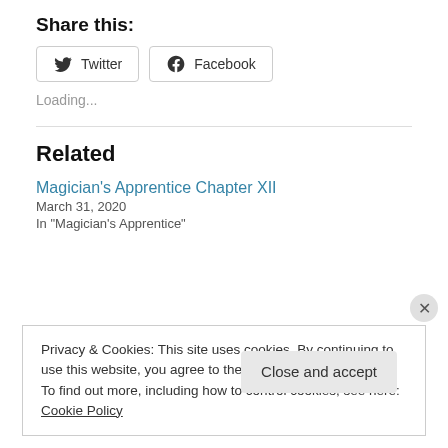Share this:
[Figure (other): Twitter and Facebook share buttons]
Loading...
Related
Magician's Apprentice Chapter XII
March 31, 2020
In "Magician's Apprentice"
Privacy & Cookies: This site uses cookies. By continuing to use this website, you agree to their use.
To find out more, including how to control cookies, see here: Cookie Policy